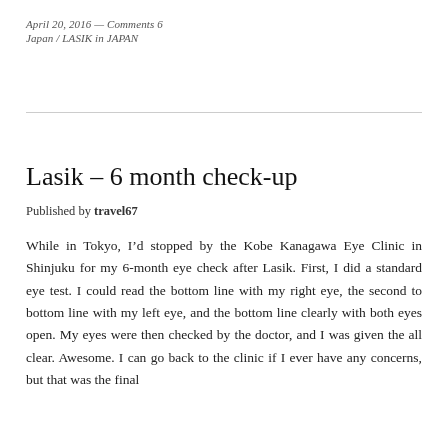April 20, 2016 — Comments 6
Japan / LASIK in JAPAN
Lasik – 6 month check-up
Published by travel67
While in Tokyo, I'd stopped by the Kobe Kanagawa Eye Clinic in Shinjuku for my 6-month eye check after Lasik. First, I did a standard eye test. I could read the bottom line with my right eye, the second to bottom line with my left eye, and the bottom line clearly with both eyes open. My eyes were then checked by the doctor, and I was given the all clear. Awesome. I can go back to the clinic if I ever have any concerns, but that was the final